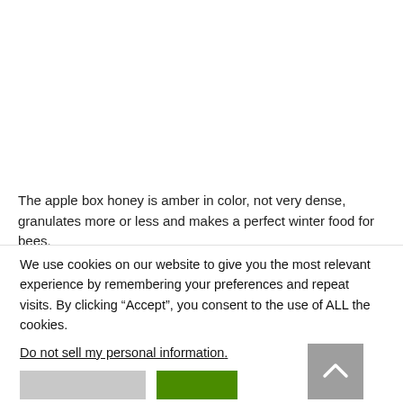The apple box honey is amber in color, not very dense, granulates more or less and makes a perfect winter food for bees.
We use cookies on our website to give you the most relevant experience by remembering your preferences and repeat visits. By clicking “Accept”, you consent to the use of ALL the cookies.
Do not sell my personal information.